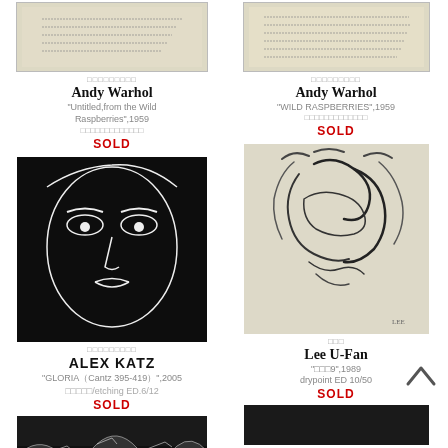[Figure (photo): Handwritten note on cream paper - Andy Warhol Wild Raspberries, left column]
Andy Warhol
"Untitled,from the Wild Raspberries",1959
SOLD
[Figure (photo): Handwritten note on cream paper - Andy Warhol Wild Raspberries, right column]
Andy Warhol
"WILD RASPBERRIES",1959
SOLD
[Figure (photo): Alex Katz - Gloria, black linocut portrait of a woman's face on black background]
ALEX KATZ
"GLORIA（Cantz 395-419）",2005
版画/etching ED.6/12
SOLD
[Figure (photo): Lee U-Fan - abstract drypoint etching, gestural strokes on white background]
Lee U-Fan
"関係9",1989 drypoint ED 10/50
SOLD
[Figure (photo): Black and white photo of ocean waves, dramatic seascape]
[Figure (photo): Dark photo, bottom right corner]